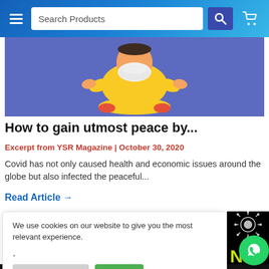Search Products
[Figure (illustration): Illustrated person in meditation pose with face mask, yellow shirt, blue background]
How to gain utmost peace by...
Excerpt from YSR Magazine | October 30, 2020
Covid has not only caused health and economic issues around the globe but also infected the peaceful...
Read Article →
We use cookies on our website to give you the most relevant experience.
[Figure (illustration): Cookie Settings and Accept buttons in a cookie consent banner]
[Figure (photo): Dark image with coronavirus graphic, green NA letters, and WhatsApp icon]